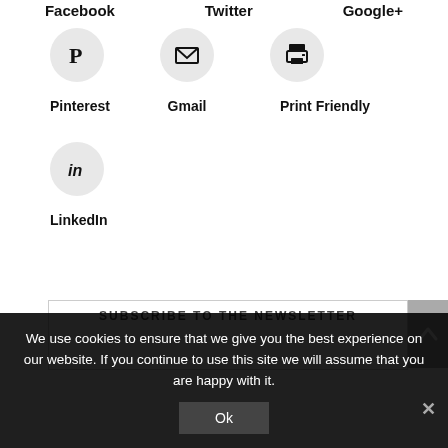Facebook  Twitter  Google+
[Figure (illustration): Pinterest circular icon button with Pinterest 'P' symbol on light grey circle]
[Figure (illustration): Gmail circular icon button with envelope symbol on light grey circle]
[Figure (illustration): Print Friendly circular icon button with printer symbol on light grey circle]
Pinterest
Gmail
Print Friendly
[Figure (illustration): LinkedIn circular icon button with 'in' symbol on light grey circle]
LinkedIn
SUBSCRIBE TO THE NEWSLETTER
We use cookies to ensure that we give you the best experience on our website. If you continue to use this site we will assume that you are happy with it.
Ok